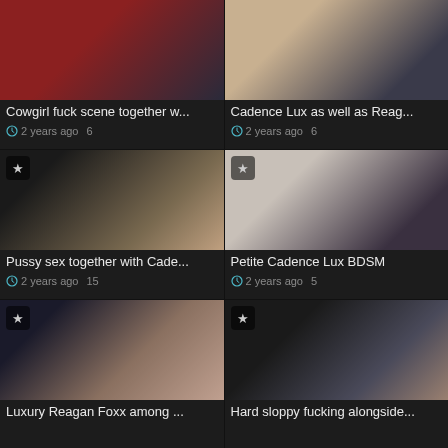[Figure (screenshot): Video thumbnail 1 - dark red couch scene]
Cowgirl fuck scene together w...
2 years ago   6
[Figure (screenshot): Video thumbnail 2 - bedroom scene]
Cadence Lux as well as Reag...
2 years ago   6
[Figure (screenshot): Video thumbnail 3 - dark scene]
Pussy sex together with Cade...
2 years ago   15
[Figure (screenshot): Video thumbnail 4 - white couch scene]
Petite Cadence Lux BDSM
2 years ago   5
[Figure (screenshot): Video thumbnail 5 - dark room scene]
Luxury Reagan Foxx among ...
[Figure (screenshot): Video thumbnail 6 - dark scene]
Hard sloppy fucking alongside...